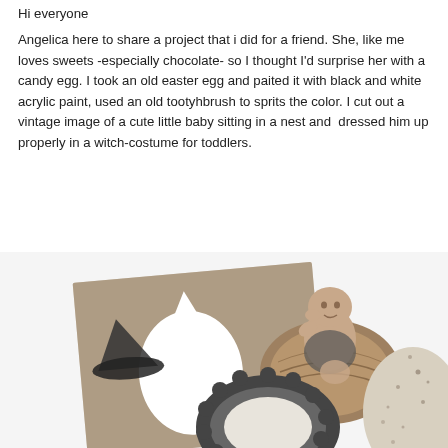Hi everyone
Angelica here to share a project that i did for a friend. She, like me loves sweets -especially chocolate- so I thought I'd surprise her with a candy egg. I took an old easter egg and paited it with black and white acrylic paint, used an old tootyhbrush to sprits the color. I cut out a vintage image of a cute little baby sitting in a nest and  dressed him up properly in a witch-costume for toddlers.
[Figure (photo): Collage of craft project items: a sepia-toned photo with a white silhouette cutout of a baby in witch costume on the left, a vintage photo of a baby sitting in a nest in the center, a dark scalloped oval frame at bottom center, and partial view of a speckled egg at bottom right.]